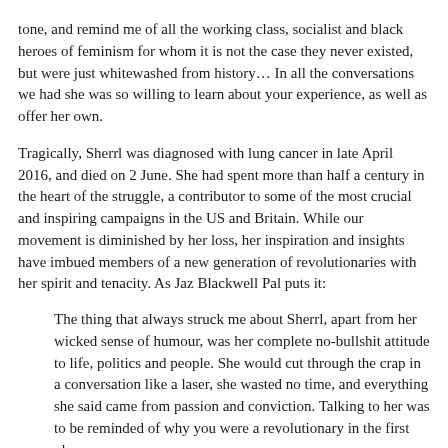tone, and remind me of all the working class, socialist and black heroes of feminism for whom it is not the case they never existed, but were just whitewashed from history… In all the conversations we had she was so willing to learn about your experience, as well as offer her own.
Tragically, Sherrl was diagnosed with lung cancer in late April 2016, and died on 2 June. She had spent more than half a century in the heart of the struggle, a contributor to some of the most crucial and inspiring campaigns in the US and Britain. While our movement is diminished by her loss, her inspiration and insights have imbued members of a new generation of revolutionaries with her spirit and tenacity. As Jaz Blackwell Pal puts it:
The thing that always struck me about Sherrl, apart from her wicked sense of humour, was her complete no-bullshit attitude to life, politics and people. She would cut through the crap in a conversation like a laser, she wasted no time, and everything she said came from passion and conviction. Talking to her was to be reminded of why you were a revolutionary in the first place.
Originally posted here.